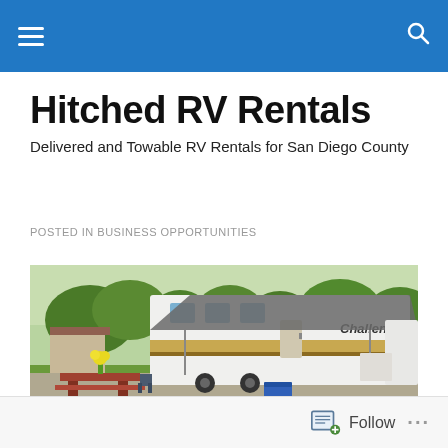Hitched RV Rentals [navigation bar]
Hitched RV Rentals
Delivered and Towable RV Rentals for San Diego County
POSTED IN BUSINESS OPPORTUNITIES
[Figure (photo): An RV trailer with an awning extended, parked at a campsite with green trees, a picnic table with yellow flowers, and blue cooler in foreground. The RV has a 'Challenger' logo on its side.]
Follow ...